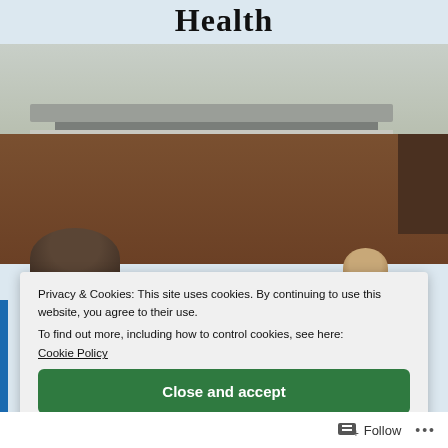Health
[Figure (photo): Interior photograph of a meeting room or hearing chamber, showing a wood-paneled wall, ceiling with a projection screen panel and lights, and two people partially visible — one in the foreground left (dark hair, seen from behind) and one in the background right (appearing to smile toward camera).]
Privacy & Cookies: This site uses cookies. By continuing to use this website, you agree to their use.
To find out more, including how to control cookies, see here:
Cookie Policy
Close and accept
Follow ...